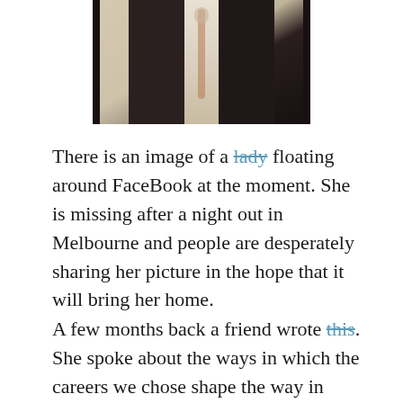[Figure (photo): A photo showing a person standing in a doorway or corridor, partially visible, with beige/cream wall on the left and dark door frame on the right.]
There is an image of a lady floating around FaceBook at the moment. She is missing after a night out in Melbourne and people are desperately sharing her picture in the hope that it will bring her home.
A few months back a friend wrote this. She spoke about the ways in which the careers we chose shape the way in which we see the world. When I was 19 I worked in a rehabilitation hospital on a social work prac. I did a visit one day to the